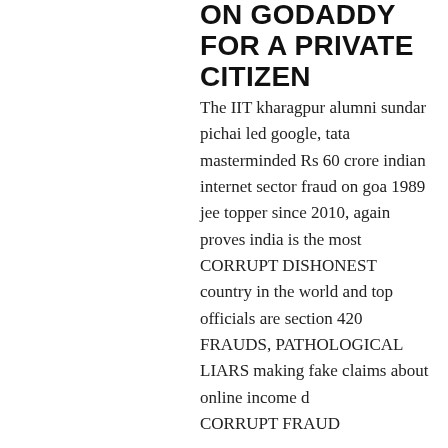ON GODADDY FOR A PRIVATE CITIZEN
The IIT kharagpur alumni sundar pichai led google, tata masterminded Rs 60 crore indian internet sector fraud on goa 1989 jee topper since 2010, again proves india is the most CORRUPT DISHONEST country in the world and top officials are section 420 FRAUDS, PATHOLOGICAL LIARS making fake claims about online income d CORRUPT FRAUD